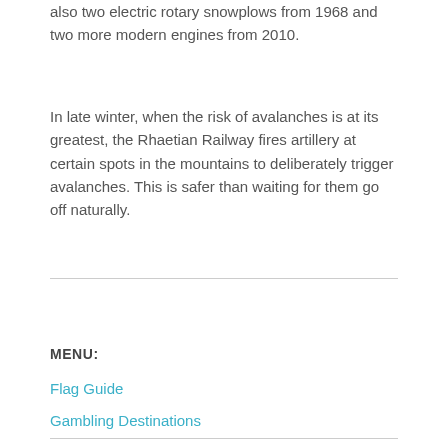also two electric rotary snowplows from 1968 and two more modern engines from 2010.
In late winter, when the risk of avalanches is at its greatest, the Rhaetian Railway fires artillery at certain spots in the mountains to deliberately trigger avalanches. This is safer than waiting for them go off naturally.
MENU:
Flag Guide
Gambling Destinations
Hotels